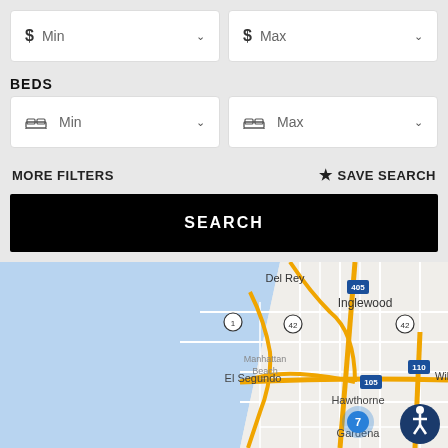[Figure (screenshot): Price filter row with $ Min and $ Max dropdown boxes]
BEDS
[Figure (screenshot): Beds filter row with bed icon Min and Max dropdown boxes]
MORE FILTERS
★ SAVE SEARCH
SEARCH
[Figure (map): Street map showing Los Angeles area including Del Rey, Inglewood, El Segundo, Hawthorne, Gardena, Willowbrook. Shows highways 405, 1, 42, 105, 110. Has a blue marker showing '7' near Gardena and an accessibility icon.]